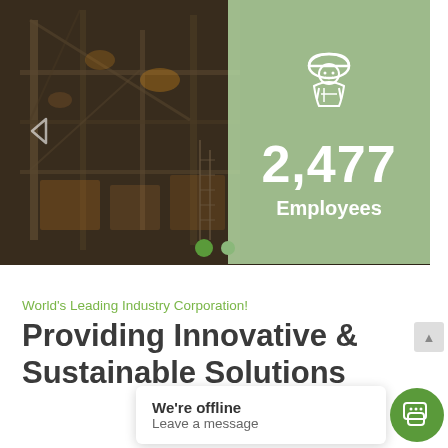[Figure (infographic): Industrial plant/factory background photograph with dark steel structures and warm lighting. Overlay green card showing worker icon, number 2,477 and label 'Employees'. Navigation arrow on left, two dot indicators at bottom.]
World's Leading Industry Corporation!
Providing Innovative & Sustainable Solutions
We're offline
Leave a message